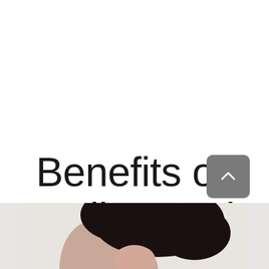Benefits of Online Dating
[Figure (photo): Partial photo of a woman with dark hair visible at bottom of page, shown from chin down, against a light gray background]
[Figure (other): Gray rounded-rectangle scroll-to-top button with upward chevron arrow]